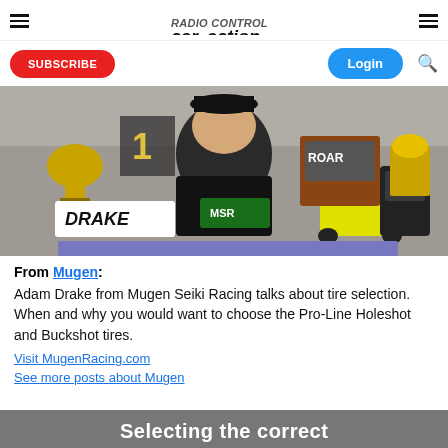RC Car Action — navigation header with hamburger menus, logo, Subscribe button, Login button, and search icon
[Figure (photo): Adam Drake from Mugen Seiki Racing sitting at a desk surrounded by trophies and RC racing cars, wearing a black Drake shirt, smiling at camera]
From Mugen:
Adam Drake from Mugen Seiki Racing talks about tire selection. When and why you would want to choose the Pro-Line Holeshot and Buckshot tires.
Visit MugenRacing.com
See more posts about Mugen
[Figure (photo): Bottom partial image showing text: Selecting the correct]